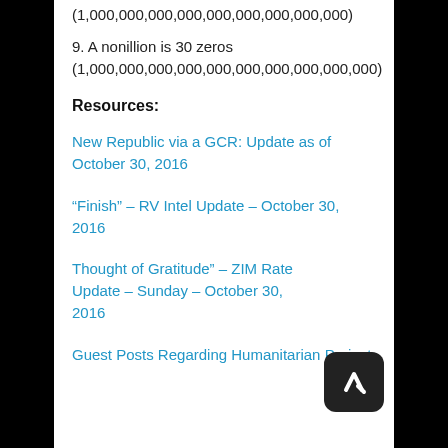(1,000,000,000,000,000,000,000,000,000)
9. A nonillion is 30 zeros
(1,000,000,000,000,000,000,000,000,000,000)
Resources:
New Republic via a GCR: Update as of October 30, 2016
“Finish” – RV Intel Update – October 30, 2016
Thought of Gratitude” – ZIM Rate Update – Sunday – October 30, 2016
Guest Posts Regarding Humanitarian Project